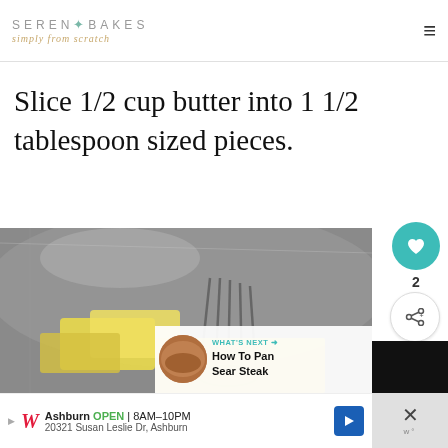SERENA BAKES simply from scratch
Slice 1/2 cup butter into 1 1/2 tablespoon sized pieces.
[Figure (photo): Photo of butter slices and a whisk in a stainless steel bowl, with a 'What's Next: How To Pan Sear Steak' overlay in the bottom right corner]
Ashburn OPEN | 8AM–10PM 20321 Susan Leslie Dr, Ashburn